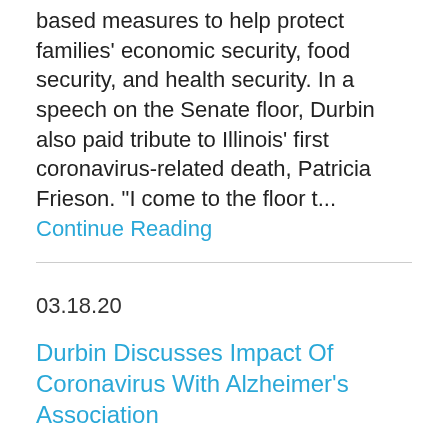based measures to help protect families' economic security, food security, and health security. In a speech on the Senate floor, Durbin also paid tribute to Illinois' first coronavirus-related death, Patricia Frieson. "I come to the floor t... Continue Reading
03.18.20
Durbin Discusses Impact Of Coronavirus With Alzheimer's Association
WASHINGTON - U.S. Senator Dick Durbin (D-IL) today discussed the impact of the coronavirus pandemic with CEO and President of the Alzheimer's Association, Harry Johns.